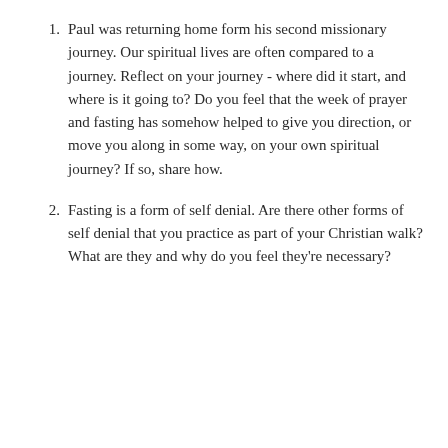Paul was returning home form his second missionary journey. Our spiritual lives are often compared to a journey. Reflect on your journey - where did it start, and where is it going to? Do you feel that the week of prayer and fasting has somehow helped to give you direction, or move you along in some way, on your own spiritual journey? If so, share how.
Fasting is a form of self denial. Are there other forms of self denial that you practice as part of your Christian walk? What are they and why do you feel they're necessary?